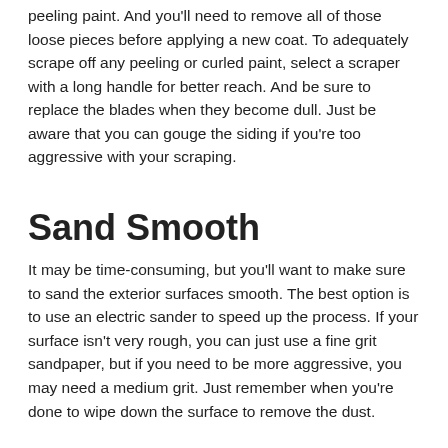peeling paint. And you'll need to remove all of those loose pieces before applying a new coat. To adequately scrape off any peeling or curled paint, select a scraper with a long handle for better reach. And be sure to replace the blades when they become dull. Just be aware that you can gouge the siding if you're too aggressive with your scraping.
Sand Smooth
It may be time-consuming, but you'll want to make sure to sand the exterior surfaces smooth. The best option is to use an electric sander to speed up the process. If your surface isn't very rough, you can just use a fine grit sandpaper, but if you need to be more aggressive, you may need a medium grit. Just remember when you're done to wipe down the surface to remove the dust.